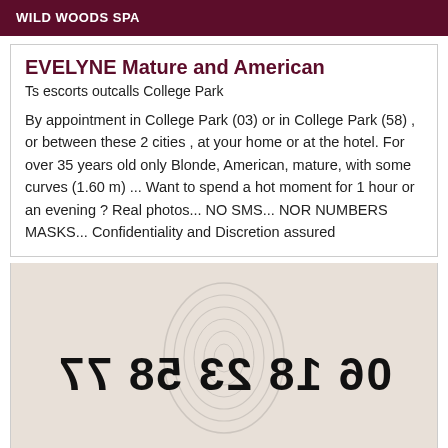WILD WOODS SPA
EVELYNE Mature and American
Ts escorts outcalls College Park
By appointment in College Park (03) or in College Park (58) , or between these 2 cities , at your home or at the hotel. For over 35 years old only Blonde, American, mature, with some curves (1.60 m) ... Want to spend a hot moment for 1 hour or an evening ? Real photos... NO SMS... NOR NUMBERS MASKS... Confidentiality and Discretion assured
[Figure (photo): Photo with mirrored/obfuscated phone number text reading '06 18 23 58 77' displayed in large bold black font over a fingerprint background image]